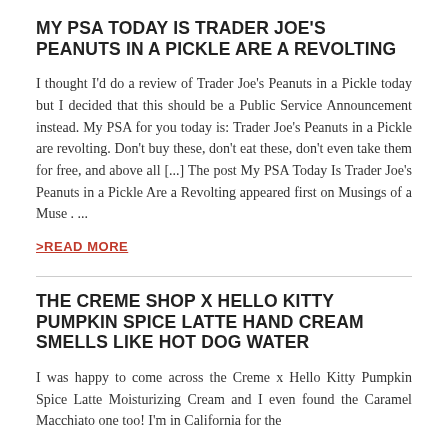MY PSA TODAY IS TRADER JOE'S PEANUTS IN A PICKLE ARE A REVOLTING
I thought I'd do a review of Trader Joe's Peanuts in a Pickle today but I decided that this should be a Public Service Announcement instead. My PSA for you today is: Trader Joe's Peanuts in a Pickle are revolting. Don't buy these, don't eat these, don't even take them for free, and above all [...] The post My PSA Today Is Trader Joe's Peanuts in a Pickle Are a Revolting appeared first on Musings of a Muse . ...
>READ MORE
THE CREME SHOP X HELLO KITTY PUMPKIN SPICE LATTE HAND CREAM SMELLS LIKE HOT DOG WATER
I was happy to come across the Creme x Hello Kitty Pumpkin Spice Latte Moisturizing Cream and I even found the Caramel Macchiato one too! I'm in California for the